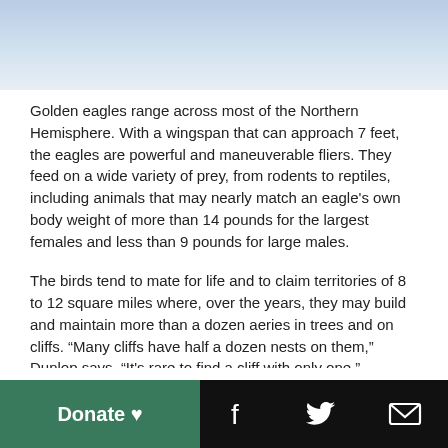[Figure (photo): Blue sky gradient image at the top of the page]
Golden eagles range across most of the Northern Hemisphere. With a wingspan that can approach 7 feet, the eagles are powerful and maneuverable fliers. They feed on a wide variety of prey, from rodents to reptiles, including animals that may nearly match an eagle's own body weight of more than 14 pounds for the largest females and less than 9 pounds for large males.
The birds tend to mate for life and to claim territories of 8 to 12 square miles where, over the years, they may build and maintain more than a dozen aeries in trees and on cliffs. “Many cliffs have half a dozen nests on them,” Dunlop says. “It's rare to find a cliff with only one.” Females lay one to four eggs at a time, though usually two, of which one typically survives the two months needed before fledging.
Donate ♥  [Facebook] [Twitter] [Email]